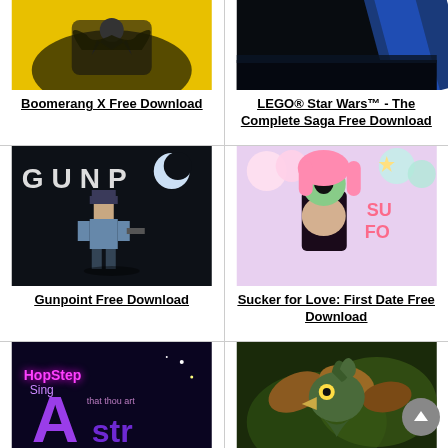[Figure (screenshot): Boomerang X game cover art - yellow background with dark character silhouette]
Boomerang X Free Download
[Figure (screenshot): LEGO Star Wars The Complete Saga cover - dark background with blue stripe]
LEGO® Star Wars™ - The Complete Saga Free Download
[Figure (screenshot): Gunpoint game cover - dark background with pixel art police officer holding gun, text GUNP visible]
Gunpoint Free Download
[Figure (screenshot): Sucker for Love First Date game cover - anime style pink-haired character with eldritch being]
Sucker for Love: First Date Free Download
[Figure (screenshot): HopStepSing Astra game cover - dark purple background with colorful neon text]
[Figure (screenshot): Game cover with illustrated bird/dragon character on dark green background]